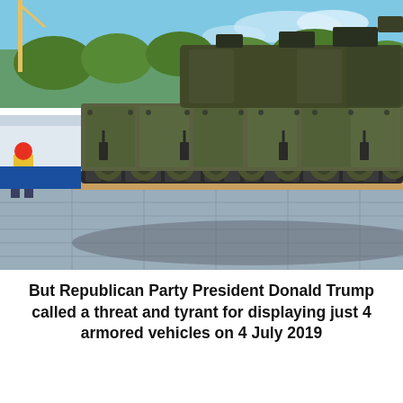[Figure (photo): A military armored tracked vehicle (tank-like) being positioned on a paved area, with a construction worker in a red hard hat visible to the left, a blue barrier, white tent structure in background, and trees and cranes in the distance under a blue sky.]
But Republican Party President Donald Trump called a threat and tyrant for displaying just 4 armored vehicles on 4 July 2019